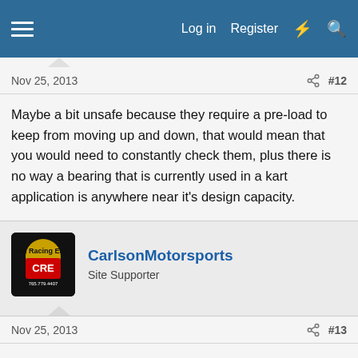Log in  Register
Nov 25, 2013  #12
Maybe a bit unsafe because they require a pre-load to keep from moving up and down, that would mean that you would need to constantly check them, plus there is no way a bearing that is currently used in a kart application is anywhere near it's design capacity.
CarlsonMotorsports
Site Supporter
Nov 25, 2013  #13
Pre-loading the bearing is done on ball bearings too. Every kart racer in the country already does this. Maybe I'm just missing something on the taper bearings being unsafe. Ralph Nader shoulda been all over this!